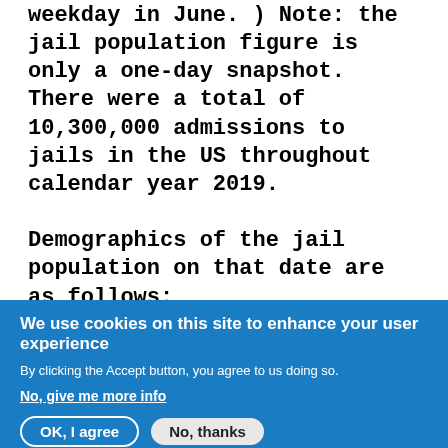weekday in June. ) Note: the jail population figure is only a one-day snapshot. There were a total of 10,300,000 admissions to jails in the US throughout calendar year 2019.

Demographics of the jail population on that date are as follows:
623,700 male, 110,700 female.
Juveniles: 2,200 held as adults, 700 held as juveniles.
Racial demographics were as follows:
White: 269,000
We use cookies on this site to enhance your user experience
By clicking the Accept button, you agree to us doing so.
No, give me more info
OK, I agree
No, thanks